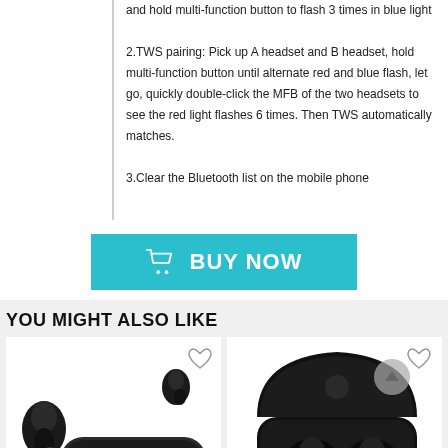and hold multi-function button to flash 3 times in blue light
2.TWS pairing: Pick up A headset and B headset, hold multi-function button until alternate red and blue flash, let go, quickly double-click the MFB of the two headsets to see the red light flashes 6 times. Then TWS automatically matches.
3.Clear the Bluetooth list on the mobile phone
[Figure (other): BUY NOW button with shopping cart icon, teal/cyan background]
YOU MIGHT ALSO LIKE
[Figure (photo): True wireless earbuds product photo showing two earbuds outside a black charging case with a heart/wishlist button]
[Figure (photo): True wireless earbuds product photo showing earbuds in an open black charging case with a heart/wishlist button]